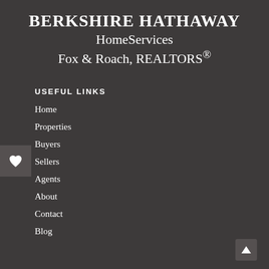BERKSHIRE HATHAWAY HomeServices Fox & Roach, REALTORS®
USEFUL LINKS
Home
Properties
Buyers
Sellers
Agents
About
Contact
Blog